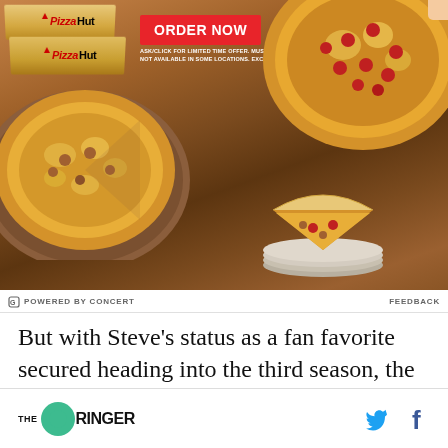[Figure (photo): Pizza Hut advertisement showing two pizzas on wooden boards, Pizza Hut boxes, a pizza slice on a plate, and an ORDER NOW badge with fine print text.]
POWERED BY CONCERT   FEEDBACK
But with Steve’s status as a fan favorite secured heading into the third season, the question
[Figure (logo): The Ringer logo with green circle, Twitter bird icon, and Facebook f icon]